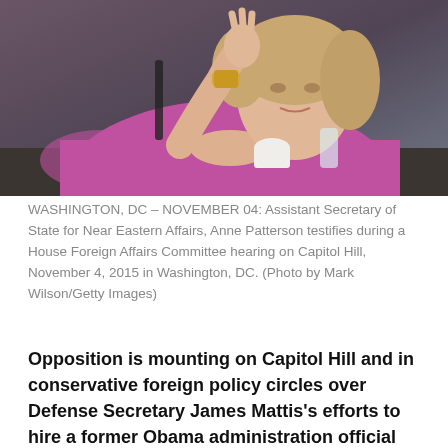[Figure (photo): A woman in a magenta/pink blazer sits at a hearing table, raising her hand, wearing a gold watch. She appears to be testifying at a congressional hearing. The background is dark.]
WASHINGTON, DC – NOVEMBER 04: Assistant Secretary of State for Near Eastern Affairs, Anne Patterson testifies during a House Foreign Affairs Committee hearing on Capitol Hill, November 4, 2015 in Washington, DC. (Photo by Mark Wilson/Getty Images)
Opposition is mounting on Capitol Hill and in conservative foreign policy circles over Defense Secretary James Mattis's efforts to hire a former Obama administration official who lobbied in favor of engagement with the Muslim Brotherhood and